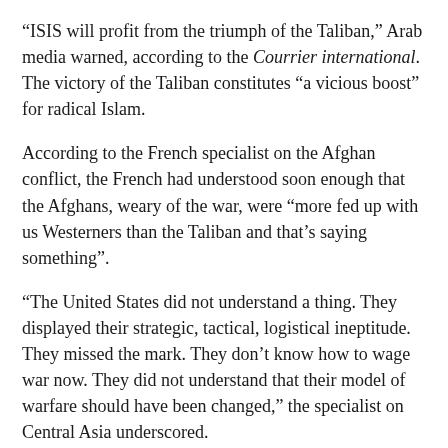“ISIS will profit from the triumph of the Taliban,” Arab media warned, according to the Courrier international. The victory of the Taliban constitutes “a vicious boost” for radical Islam.
According to the French specialist on the Afghan conflict, the French had understood soon enough that the Afghans, weary of the war, were “more fed up with us Westerners than the Taliban and that’s saying something”.
“The United States did not understand a thing. They displayed their strategic, tactical, logistical ineptitude. They missed the mark. They don’t know how to wage war now. They did not understand that their model of warfare should have been changed,” the specialist on Central Asia underscored.
Cagnat’s summary was shared by French veterans. “When you see these images of Kabul, it is deeply sad for the Afghan people. It hasn’t budged. It’s really sad that the Afghans are going back to square one,” a veteran French soldier, Antoine Daoust, remarked.